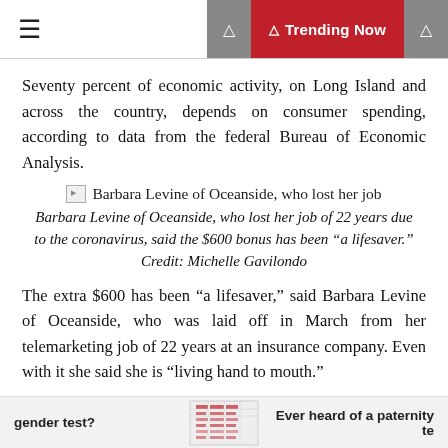☰  ☰ Trending Now
Seventy percent of economic activity, on Long Island and across the country, depends on consumer spending, according to data from the federal Bureau of Economic Analysis.
[Figure (photo): Broken image placeholder for Barbara Levine of Oceanside, who lost her job]
Barbara Levine of Oceanside, who lost her job of 22 years due to the coronavirus, said the $600 bonus has been “a lifesaver.” Credit: Michelle Gavilondo
The extra $600 has been “a lifesaver,” said Barbara Levine of Oceanside, who was laid off in March from her telemarketing job of 22 years at an insurance company. Even with it she said she is “living hand to mouth.”
gender test?  Ever heard of a paternity te